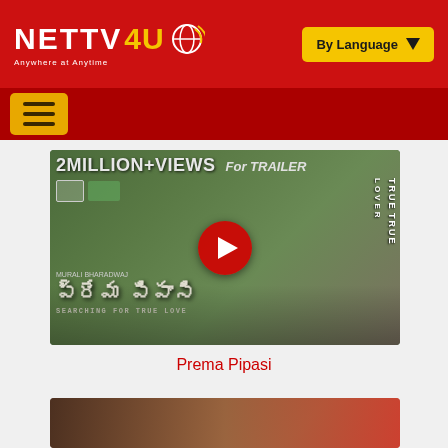NETTV4U — Anywhere at Anytime | By Language
[Figure (screenshot): NETTV4U website header with red background, white logo text 'NETTV4U' with globe icon and tagline 'Anywhere at Anytime', and yellow 'By Language' dropdown button on right]
[Figure (screenshot): Navigation bar with yellow hamburger menu button on dark red background]
[Figure (screenshot): Movie trailer thumbnail for 'Prema Pipasi' Telugu film showing '2MILLION+ VIEWS For TRAILER' text, two actors walking, Telugu movie title text, 'SEARCHING FOR TRUE LOVE' tagline, 'TRUE TRUE LOVER' text on right side, and red YouTube play button in center]
Prema Pipasi
[Figure (screenshot): Partial bottom thumbnail of another movie/video content]